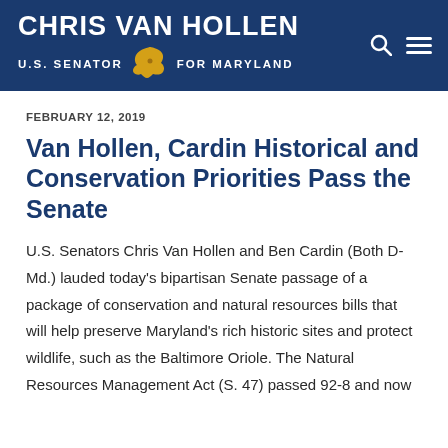CHRIS VAN HOLLEN U.S. SENATOR FOR MARYLAND
FEBRUARY 12, 2019
Van Hollen, Cardin Historical and Conservation Priorities Pass the Senate
U.S. Senators Chris Van Hollen and Ben Cardin (Both D-Md.) lauded today's bipartisan Senate passage of a package of conservation and natural resources bills that will help preserve Maryland's rich historic sites and protect wildlife, such as the Baltimore Oriole. The Natural Resources Management Act (S. 47) passed 92-8 and now